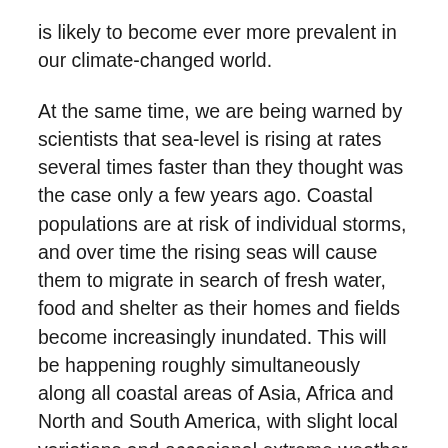is likely to become ever more prevalent in our climate-changed world.
At the same time, we are being warned by scientists that sea-level is rising at rates several times faster than they thought was the case only a few years ago. Coastal populations are at risk of individual storms, and over time the rising seas will cause them to migrate in search of fresh water, food and shelter as their homes and fields become increasingly inundated. This will be happening roughly simultaneously along all coastal areas of Asia, Africa and North and South America, with slight local variations and occasional extreme weather events.
Under these circumstances, the conditions for the emergence of “novel” diseases and the resurgence of known air-, water- and vector-borne diseases (including